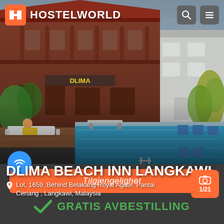[Figure (photo): Outdoor swimming pool at Dlima Beach Inn Langkawi, with sun loungers, blue pool water, tropical garden, two-storey red brick building in background, and guests near the pool]
HOSTELWORLD
DLIMA BEACH INN LANGKAWI
Lot, 1659, Behind Belakang Royal Agate, Pantai Cenang , Langkawi, Malaysia
1/21
Tilgjengelighet
GRATIS AVBESTILLING